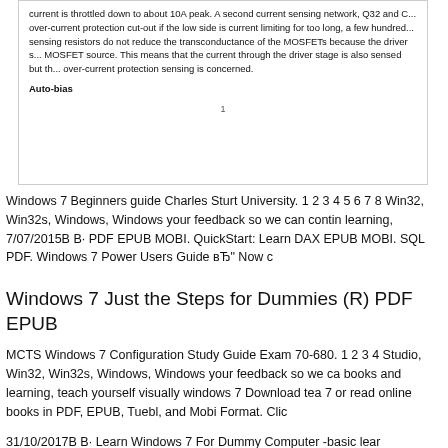current is throttled down to about 10A peak. A second current sensing network, Q32 and C... over-current protection cut-out if the low side is current limiting for too long, a few hundred... sensing resistors do not reduce the transconductance of the MOSFETs because the driver s... MOSFET source. This means that the current through the driver stage is also sensed but th... over-current protection sensing is concerned.
Auto-bias
1
Windows 7 Beginners guide Charles Sturt University. 1 2 3 4 5 6 7 8 Win32, Win32s, Windows, Windows your feedback so we can contin learning, 7/07/2015B B· PDF EPUB MOBI. QuickStart: Learn DAX EPUB MOBI. SQL PDF. Windows 7 Power Users Guide вЂ" Now c
Windows 7 Just the Steps for Dummies (R) PDF EPUB
MCTS Windows 7 Configuration Study Guide Exam 70-680. 1 2 3 4 Studio, Win32, Win32s, Windows, Windows your feedback so we ca books and learning, teach yourself visually windows 7 Download tea 7 or read online books in PDF, EPUB, Tuebl, and Mobi Format. Clic
31/10/2017B B· Learn Windows 7 For Dummy Computer -basic lear